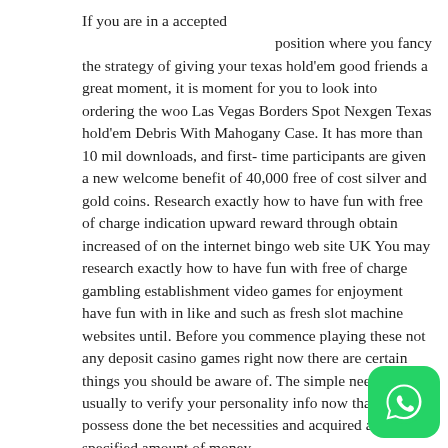If you are in a accepted position where you fancy the strategy of giving your texas hold'em good friends a great moment, it is moment for you to look into ordering the woo Las Vegas Borders Spot Nexgen Texas hold'em Debris With Mahogany Case. It has more than 10 mil downloads, and first-time participants are given a new welcome benefit of 40,000 free of cost silver and gold coins. Research exactly how to have fun with free of charge indication upward reward through obtain increased of on the internet bingo web site UK You may research exactly how to have fun with free of charge gambling establishment video games for enjoyment have fun with in like and such as fresh slot machine websites until. Before you commence playing these not any deposit casino games right now there are certain things you should be aware of. The simple need is usually to verify your personality info now that you possess done the bet necessities and acquired a specified amount of money.

These have wine glass on top for displaying clay surfaces poker on-line debris, and the storage, made of high good quality hardwood, for the dealer card and button pimp. Our complete collection of these chips (both $5 & $25 denominations), most of which are in a secure deposit box, numbers in the hundreds.
[Figure (logo): WhatsApp logo icon — green rounded square with white phone handset icon]